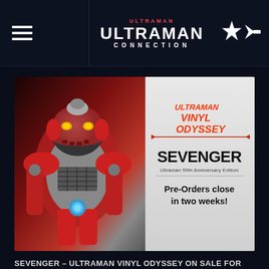ULTRAMAN CONNECTION
[Figure (photo): Promotional banner for Sevenger Ultraman Vinyl Odyssey figure - Ultraman 55th Anniversary Edition. Shows a red and grey robot figure on the left, with text on the right reading ULTRAMAN VINYL ODYSSEY, SEVENGER, Ultraman 55th Anniversary Edition, Pre-Orders close in two weeks!]
SEVENGER - ULTRAMAN VINYL ODYSSEY ON SALE FOR ONLY UNTIL AUGUST 31